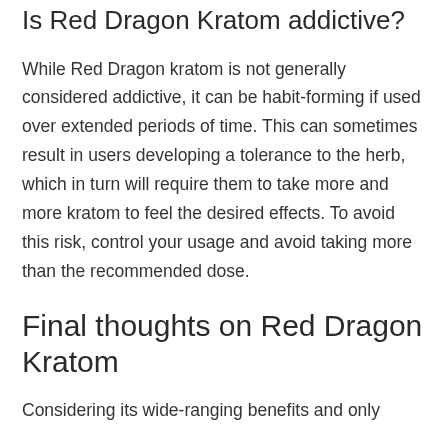Is Red Dragon Kratom addictive?
While Red Dragon kratom is not generally considered addictive, it can be habit-forming if used over extended periods of time. This can sometimes result in users developing a tolerance to the herb, which in turn will require them to take more and more kratom to feel the desired effects. To avoid this risk, control your usage and avoid taking more than the recommended dose.
Final thoughts on Red Dragon Kratom
Considering its wide-ranging benefits and only